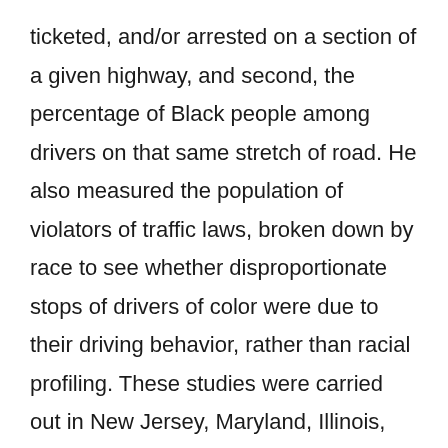ticketed, and/or arrested on a section of a given highway, and second, the percentage of Black people among drivers on that same stretch of road. He also measured the population of violators of traffic laws, broken down by race to see whether disproportionate stops of drivers of color were due to their driving behavior, rather than racial profiling. These studies were carried out in New Jersey, Maryland, Illinois, and Ohio, and they all came to the same conclusion: state troopers were singling out motorists of color for discriminatory treatment. In Maryland, although only 17